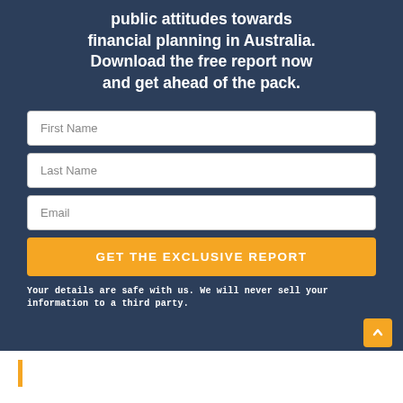public attitudes towards financial planning in Australia. Download the free report now and get ahead of the pack.
First Name
Last Name
Email
GET THE EXCLUSIVE REPORT
Your details are safe with us. We will never sell your information to a third party.